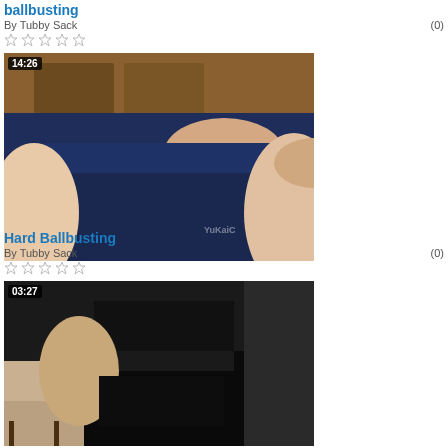ballbusting
By Tubby Sack  (0)
[Figure (screenshot): Video thumbnail showing a person in dark blue underwear with a hand visible, duration 14:26]
Hard Ballbusting
By Tubby Sack  (0)
[Figure (screenshot): Video thumbnail showing a person in black shorts/clothing, duration 03:27]